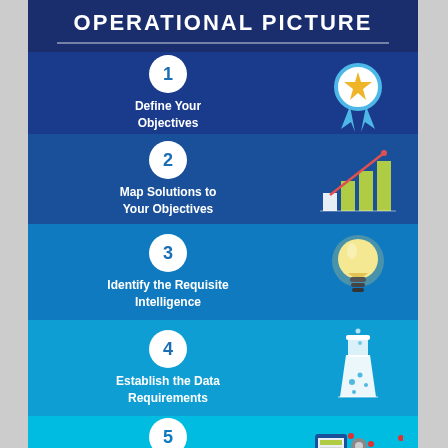OPERATIONAL PICTURE
1 - Define Your Objectives
2 - Map Solutions to Your Objectives
3 - Identify the Requisite Intelligence
4 - Establish the Data Requirements
5 - Implement the Right Technologies